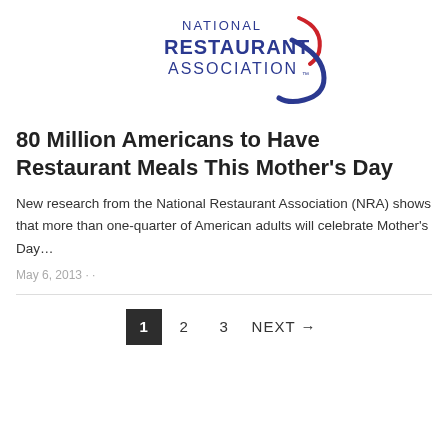[Figure (logo): National Restaurant Association logo with red and blue swoosh graphic and text NATIONAL RESTAURANT ASSOCIATION]
80 Million Americans to Have Restaurant Meals This Mother's Day
New research from the National Restaurant Association (NRA) shows that more than one-quarter of American adults will celebrate Mother's Day…
May 6, 2013 - ·
1  2  3  NEXT →